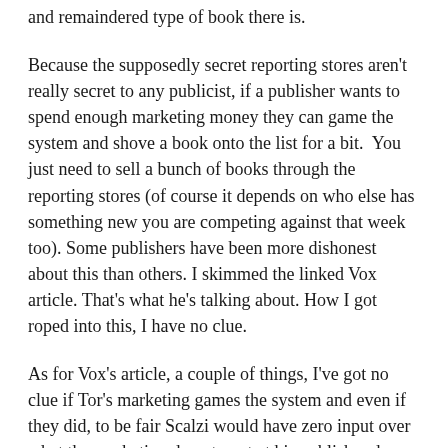and remaindered type of book there is.
Because the supposedly secret reporting stores aren't really secret to any publicist, if a publisher wants to spend enough marketing money they can game the system and shove a book onto the list for a bit.  You just need to sell a bunch of books through the reporting stores (of course it depends on who else has something new you are competing against that week too). Some publishers have been more dishonest about this than others. I skimmed the linked Vox article. That's what he's talking about. How I got roped into this, I have no clue.
As for Vox's article, a couple of things, I've got no clue if Tor's marketing games the system and even if they did, to be fair Scalzi would have zero input over what the marketing department at his publisher does. Most publicists are going to send you to those reporting stores to do signings. Sometimes they'll do co-op advertising (yeah, the big displays of books at the front of the store? Publishers pay for those).